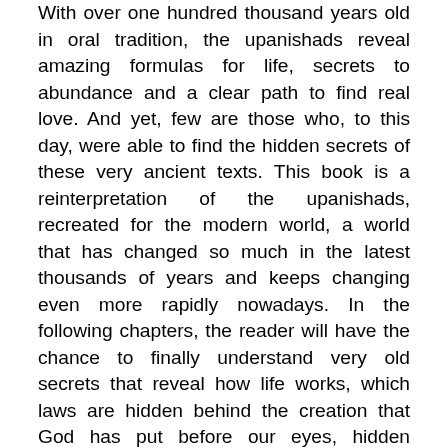With over one hundred thousand years old in oral tradition, the upanishads reveal amazing formulas for life, secrets to abundance and a clear path to find real love. And yet, few are those who, to this day, were able to find the hidden secrets of these very ancient texts. This book is a reinterpretation of the upanishads, recreated for the modern world, a world that has changed so much in the latest thousands of years and keeps changing even more rapidly nowadays. In the following chapters, the reader will have the chance to finally understand very old secrets that reveal how life works, which laws are hidden behind the creation that God has put before our eyes, hidden behind the illusion, emotions and experiences that we encounter. Life is an adventure that few can fully experience and benefit from, but we can have everything we